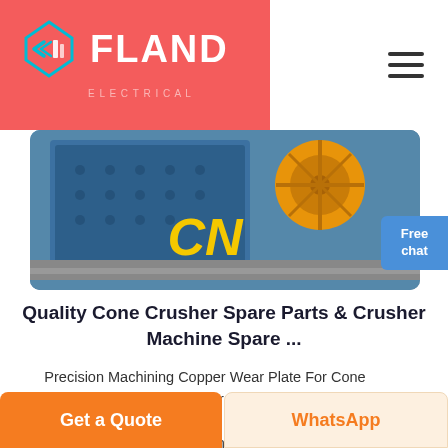[Figure (logo): FLAND company logo on red background header with diamond/arrow SVG icon in cyan/blue and white bold text FLAND]
[Figure (photo): Industrial cone crusher machine in blue with yellow CN branding text, product photo]
Quality Cone Crusher Spare Parts & Crusher Machine Spare ...
Precision Machining Copper Wear Plate For Cone Crusher Machine Cone crusher bronze friction plate, ISO 9001 and 20 years casting experience, Chinese centrifugal casting and metal casting
Get a Quote   WhatsApp